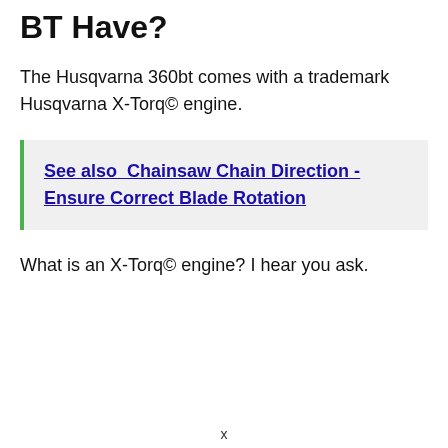BT Have?
The Husqvarna 360bt comes with a trademark Husqvarna X-Torq© engine.
See also  Chainsaw Chain Direction - Ensure Correct Blade Rotation
What is an X-Torq© engine? I hear you ask.
x